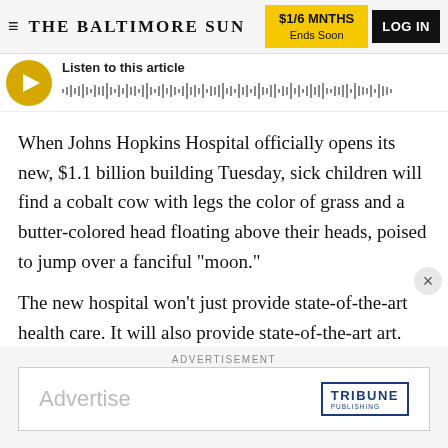THE BALTIMORE SUN | $1/6 MNTHS Ends Soon | LOG IN
[Figure (other): Audio player with play button and waveform. Label reads: Listen to this article]
When Johns Hopkins Hospital officially opens its new, $1.1 billion building Tuesday, sick children will find a cobalt cow with legs the color of grass and a butter-colored head floating above their heads, poised to jump over a fanciful "moon."
The new hospital won't just provide state-of-the-art health care. It will also provide state-of-the-art art.
ADVERTISEMENT
[Figure (other): Advertisement box showing 'Advertise' text and Tribune Publishing logo]